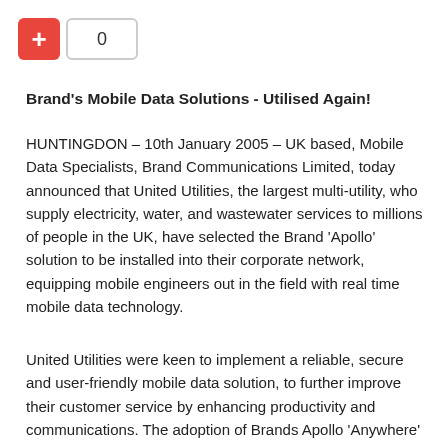[Figure (other): A red button with a white plus sign and a counter box showing 0]
Brand's Mobile Data Solutions - Utilised Again!
HUNTINGDON – 10th January 2005 – UK based, Mobile Data Specialists, Brand Communications Limited, today announced that United Utilities, the largest multi-utility, who supply electricity, water, and wastewater services to millions of people in the UK, have selected the Brand 'Apollo' solution to be installed into their corporate network, equipping mobile engineers out in the field with real time mobile data technology.
United Utilities were keen to implement a reliable, secure and user-friendly mobile data solution, to further improve their customer service by enhancing productivity and communications. The adoption of Brands Apollo 'Anywhere'